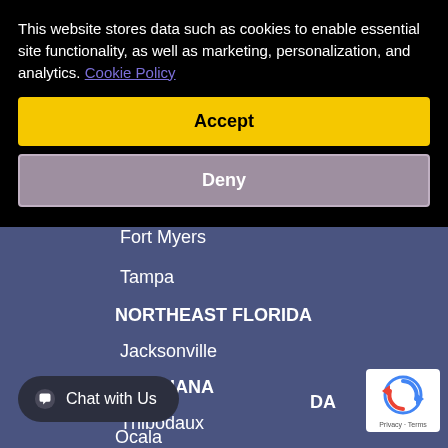This website stores data such as cookies to enable essential site functionality, as well as marketing, personalization, and analytics. Cookie Policy
Accept
Deny
Fort Myers
Tampa
NORTHEAST FLORIDA
Jacksonville
LOUISIANA
Thibodaux
DA
Ocala
[Figure (screenshot): Chat with Us button overlay at bottom left]
[Figure (logo): reCAPTCHA badge with Privacy and Terms text]